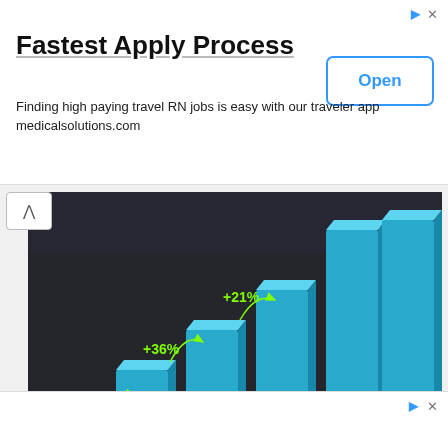Fastest Apply Process
Finding high paying travel RN jobs is easy with our traveler app medicalsolutions.com
[Figure (bar-chart): 3D bar chart showing salary increase percentages by years of experience. Labels show +32% between <2 Years and 2-5, +36% between 2-5 and 5-10, +21% between 5-10 and 10-15. Bars grow taller from left to right.]
Share This Chart
Tweet
Share
Save
Get Chart Link